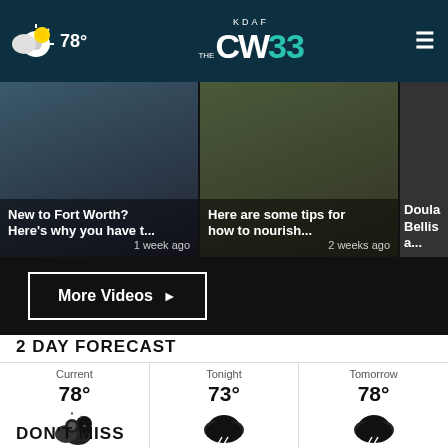78° KDAF CW33
[Figure (screenshot): Video thumbnails strip: 'New to Fort Worth? Here's why you have t...' 1 week ago, 'Here are some tips for how to nourish...' 2 weeks ago, partial third card 'Doula Bellis...']
More Videos ▶
2 DAY FORECAST
| Current | Tonight | Tomorrow |
| --- | --- | --- |
| 78° | 73° | 78° |
| Partly Cloudy | Thunderstorms
Precip: 98% | Thunderstorms
Precip: 100% |
DON'T MISS